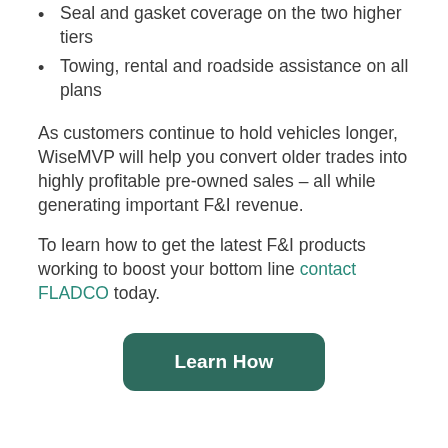Seal and gasket coverage on the two higher tiers
Towing, rental and roadside assistance on all plans
As customers continue to hold vehicles longer, WiseMVP will help you convert older trades into highly profitable pre-owned sales – all while generating important F&I revenue.
To learn how to get the latest F&I products working to boost your bottom line contact FLADCO today.
[Figure (other): Green rounded button with white bold text reading 'Learn How']